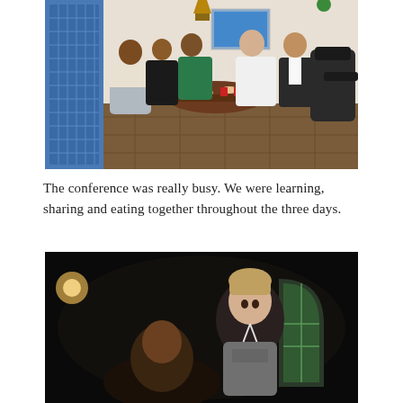[Figure (photo): Group of five young people seated around a round table in a restaurant with tiled floors, blue decorative door, and paintings on white wall. They are smiling at the camera.]
The conference was really busy. We were learning, sharing and eating together throughout the three days.
[Figure (photo): Two young people photographed at night outdoors, smiling. One with light hair wearing a grey shirt with a lanyard, and another partially visible in front.]